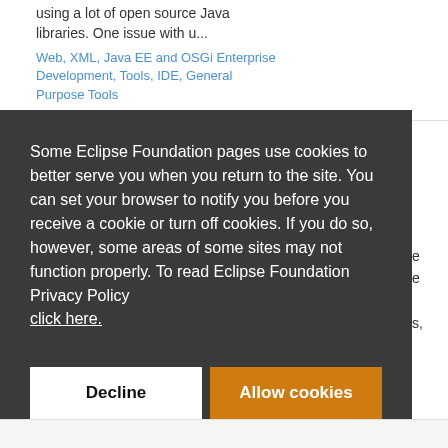work with SUTS based projects which using a lot of open source Java libraries. One issue with u...
Web, XML, Java EE and OSGi Enterprise Development, Tools, IDE, General Purpose Tools
Some Eclipse Foundation pages use cookies to better serve you when you return to the site. You can set your browser to notify you before you receive a cookie or turn off cookies. If you do so, however, some areas of some sites may not function properly. To read Eclipse Foundation Privacy Policy click here.